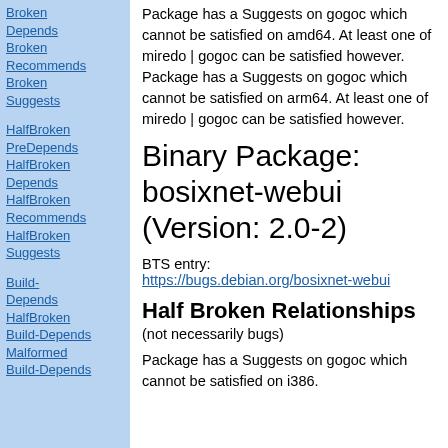Broken Depends
Broken Recommends
Broken Suggests
HalfBroken PreDepends
HalfBroken Depends
HalfBroken Recommends
HalfBroken Suggests
Build-Depends
HalfBroken Build-Depends
Malformed Build-Depends
Package has a Suggests on gogoc which cannot be satisfied on amd64. At least one of miredo | gogoc can be satisfied however. Package has a Suggests on gogoc which cannot be satisfied on arm64. At least one of miredo | gogoc can be satisfied however.
Binary Package: bosixnet-webui (Version: 2.0-2)
BTS entry:
https://bugs.debian.org/bosixnet-webui
Half Broken Relationships
(not necessarily bugs)
Package has a Suggests on gogoc which cannot be satisfied on i386.